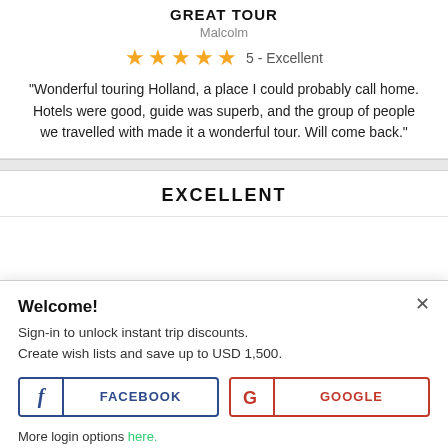GREAT TOUR
Malcolm
★★★★★ 5 - Excellent
"Wonderful touring Holland, a place I could probably call home. Hotels were good, guide was superb, and the group of people we travelled with made it a wonderful tour. Will come back."
EXCELLENT
Welcome!
Sign-in to unlock instant trip discounts.
Create wish lists and save up to USD 1,500.
f FACEBOOK
G GOOGLE
More login options here.